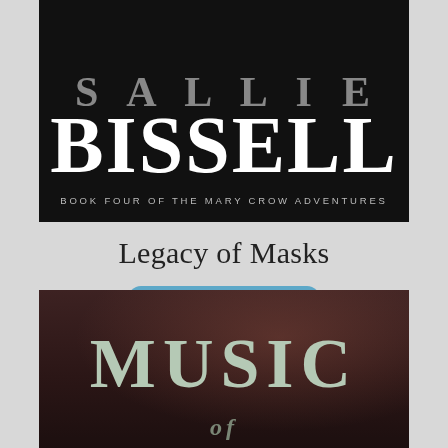[Figure (illustration): Top portion of a book cover with black background showing author name 'BISSELL' in large white serif font and subtitle 'BOOK FOUR OF THE MARY CROW ADVENTURES' in small spaced caps]
Legacy of Masks
BUY NOW
[Figure (illustration): Bottom portion of a second book cover with dark reddish-brown background showing the word 'MUSIC' in large pale green serif font, partially visible]